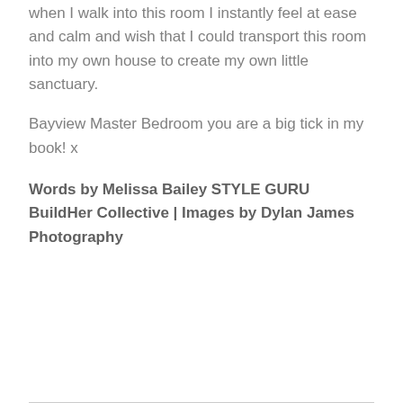when I walk into this room I instantly feel at ease and calm and wish that I could transport this room into my own house to create my own little sanctuary.
Bayview Master Bedroom you are a big tick in my book! x
Words by Melissa Bailey STYLE GURU BuildHer Collective | Images by Dylan James Photography